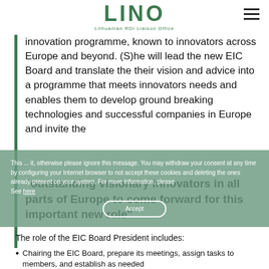LINO - Lithuanian RDI Liaison Office
innovation programme, known to innovators across Europe and beyond. (S)he will lead the new EIC Board and translate the their vision and advice into a programme that meets innovators needs and enables them to develop ground breaking technologies and successful companies in Europe and invite the
This ... it, otherwise please ignore this message. You may withdraw your consent at any time by configuring your Internet browser to not accept these cookies and deleting the ones already present on your system. For more information, please See here
"outstanding visionary innovators in all parts of Europe to come forward for this important new role"
The role of the EIC Board President includes:
Chairing the EIC Board, prepare its meetings, assign tasks to members, and establish as needed